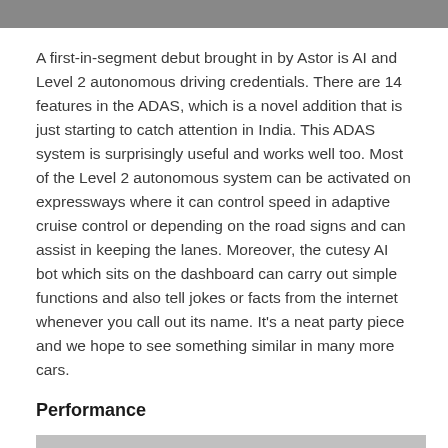[Figure (photo): Top portion of a car photo, partially visible at the top of the page]
A first-in-segment debut brought in by Astor is AI and Level 2 autonomous driving credentials. There are 14 features in the ADAS, which is a novel addition that is just starting to catch attention in India. This ADAS system is surprisingly useful and works well too. Most of the Level 2 autonomous system can be activated on expressways where it can control speed in adaptive cruise control or depending on the road signs and can assist in keeping the lanes. Moreover, the cutesy AI bot which sits on the dashboard can carry out simple functions and also tell jokes or facts from the internet whenever you call out its name. It’s a neat party piece and we hope to see something similar in many more cars.
Performance
[Figure (photo): Bottom portion of a car photo, partially visible at the bottom of the page]